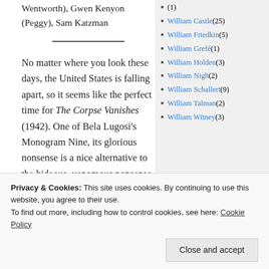Wentworth), Gwen Kenyon (Peggy), Sam Katzman
No matter where you look these days, the United States is falling apart, so it seems like the perfect time for The Corpse Vanishes (1942). One of Bela Lugosi's Monogram Nine, its glorious nonsense is a nice alternative to the hideous, venomous nonsense just oozing out of every pore of our society.
[Figure (photo): Dark moody film still showing a dimly lit scene with a figure]
(1)
William Castle (25)
William Friedkin (5)
William Grefé (1)
William Holden (3)
William Nigh (2)
William Schallert (9)
William Talman (2)
William Witney (3)
Privacy & Cookies: This site uses cookies. By continuing to use this website, you agree to their use.
To find out more, including how to control cookies, see here: Cookie Policy